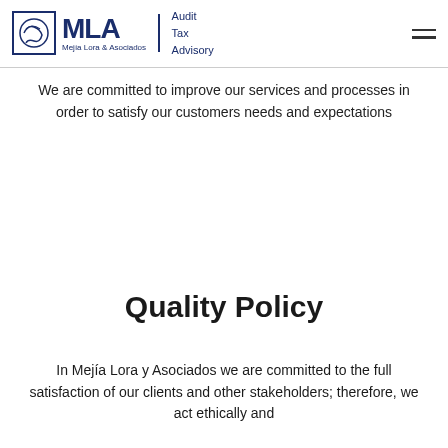MLA Mejía Lora & Asociados | Audit Tax Advisory
We are committed to improve our services and processes in order to satisfy our customers needs and expectations
Quality Policy
In Mejía Lora y Asociados we are committed to the full satisfaction of our clients and other stakeholders; therefore, we act ethically and